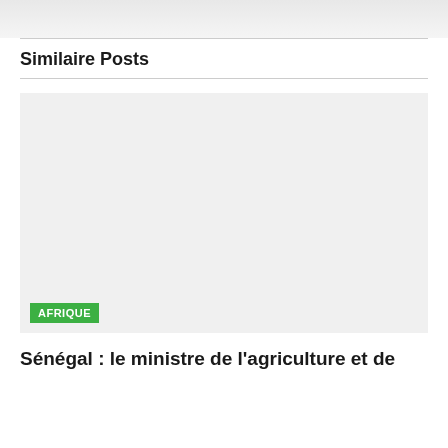Similaire Posts
[Figure (photo): Placeholder image area with AFRIQUE category badge in green]
Sénégal : le ministre de l'agriculture et de